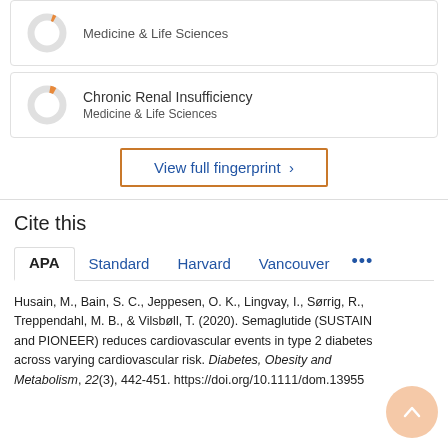[Figure (donut-chart): Partial donut/fingerprint indicator for Medicine & Life Sciences (top card, mostly gray with small orange segment)]
Medicine & Life Sciences
[Figure (donut-chart): Partial donut/fingerprint indicator for Chronic Renal Insufficiency, mostly gray with small orange segment]
Chronic Renal Insufficiency
Medicine & Life Sciences
View full fingerprint >
Cite this
APA  Standard  Harvard  Vancouver  ...
Husain, M., Bain, S. C., Jeppesen, O. K., Lingvay, I., Sørrig, R., Treppendahl, M. B., & Vilsbøll, T. (2020). Semaglutide (SUSTAIN and PIONEER) reduces cardiovascular events in type 2 diabetes across varying cardiovascular risk. Diabetes, Obesity and Metabolism, 22(3), 442-451. https://doi.org/10.1111/dom.13955